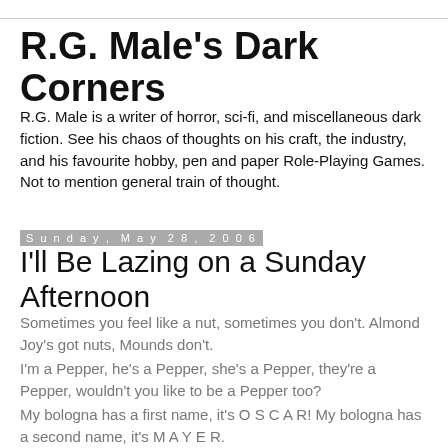R.G. Male's Dark Corners
R.G. Male is a writer of horror, sci-fi, and miscellaneous dark fiction. See his chaos of thoughts on his craft, the industry, and his favourite hobby, pen and paper Role-Playing Games. Not to mention general train of thought.
Sunday, May 28, 2006
I'll Be Lazing on a Sunday Afternoon
Sometimes you feel like a nut, sometimes you don't. Almond Joy's got nuts, Mounds don't.
I'm a Pepper, he's a Pepper, she's a Pepper, they're a Pepper, wouldn't you like to be a Pepper too?
My bologna has a first name, it's O S C A R! My bologna has a second name, it's M A Y E R.